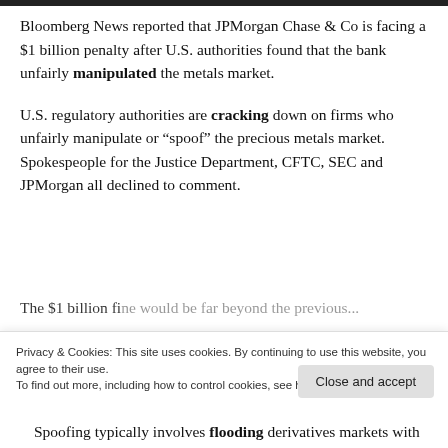Bloomberg News reported that JPMorgan Chase & Co is facing a $1 billion penalty after U.S. authorities found that the bank unfairly manipulated the metals market.
U.S. regulatory authorities are cracking down on firms who unfairly manipulate or “spoof” the precious metals market. Spokespeople for the Justice Department, CFTC, SEC and JPMorgan all declined to comment.
The $1 billion fine would be far beyond the previous...
Privacy & Cookies: This site uses cookies. By continuing to use this website, you agree to their use.
To find out more, including how to control cookies, see here: Cookie Policy
Spoofing typically involves flooding derivatives markets with...